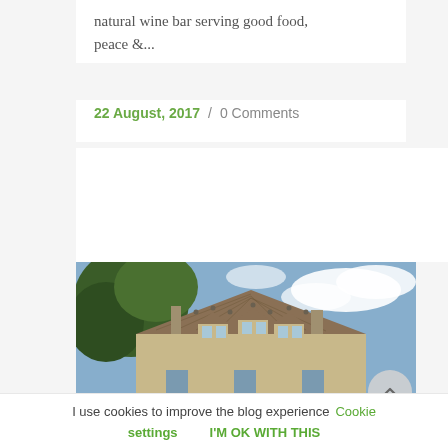natural wine bar serving good food, peace &...
22 August, 2017 / 0 Comments
[Figure (photo): Exterior photograph of a stone manor or chateau building with dormer windows and chimneys, surrounded by trees, against a blue sky with clouds.]
I use cookies to improve the blog experience   Cookie settings   I'M OK WITH THIS